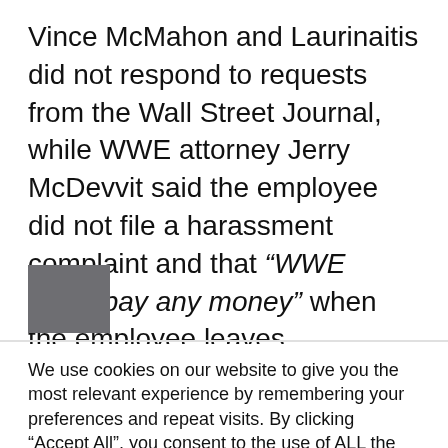Vince McMahon and Laurinaitis did not respond to requests from the Wall Street Journal, while WWE attorney Jerry McDevvit said the employee did not file a harassment complaint and that “WWE didn’t pay any money” when the employee leaves.
[Figure (other): Gray square thumbnail/image placeholder]
We use cookies on our website to give you the most relevant experience by remembering your preferences and repeat visits. By clicking “Accept All”, you consent to the use of ALL the cookies. However, you may visit "Cookie Settings" to provide a controlled consent.